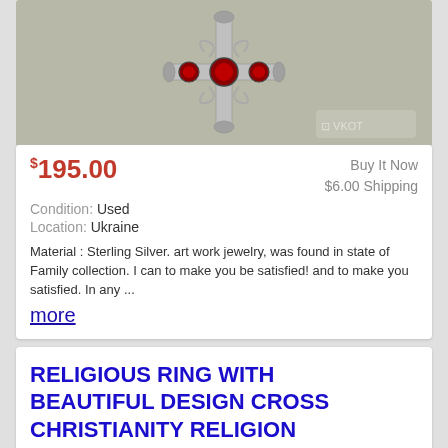[Figure (photo): Close-up photo of a sterling silver ornate cross jewelry piece with red gemstones on a grey fabric background]
$195.00
Buy It Now
$6.00 Shipping
Condition: Used
Location: Ukraine
Material : Sterling Silver. art work jewelry, was found in state of Family collection. I can to make you be satisfied! and to make you satisfied. In any ...
more
RELIGIOUS RING WITH BEAUTIFUL DESIGN CROSS CHRISTIANITY RELIGION SOVIET JEWELRY
[Figure (photo): Partial photo of a ring on dark green surface]